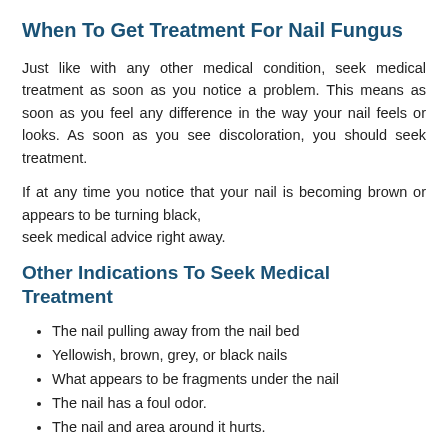When To Get Treatment For Nail Fungus
Just like with any other medical condition, seek medical treatment as soon as you notice a problem. This means as soon as you feel any difference in the way your nail feels or looks. As soon as you see discoloration, you should seek treatment.
If at any time you notice that your nail is becoming brown or appears to be turning black,
seek medical advice right away.
Other Indications To Seek Medical Treatment
The nail pulling away from the nail bed
Yellowish, brown, grey, or black nails
What appears to be fragments under the nail
The nail has a foul odor.
The nail and area around it hurts.